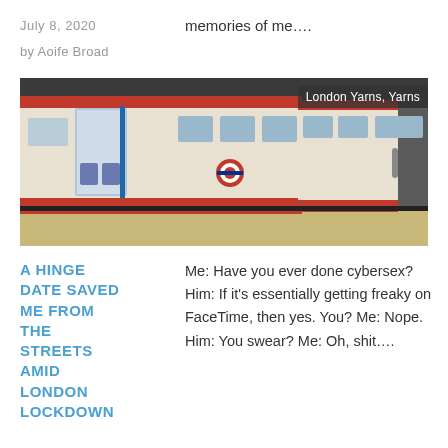memories of me….
July 8, 2020
by Aoife Broad
[Figure (photo): London Underground tube train at a station platform, showing red and white carriages with open doors. Tag overlay reads 'London Yarns, Yarns'.]
A HINGE DATE SAVED ME FROM THE STREETS AMID LONDON LOCKDOWN
Me: Have you ever done cybersex? Him: If it's essentially getting freaky on FaceTime, then yes. You? Me: Nope. Him: You swear? Me: Oh, shit….